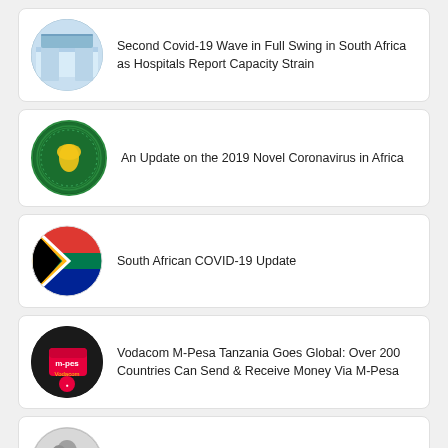Second Covid-19 Wave in Full Swing in South Africa as Hospitals Report Capacity Strain
An Update on the 2019 Novel Coronavirus in Africa
South African COVID-19 Update
Vodacom M-Pesa Tanzania Goes Global: Over 200 Countries Can Send & Receive Money Via M-Pesa
Uber Teams Up With Mastercard to Provide 120,000 Free Trips to Front-line Workers in the MEA Region